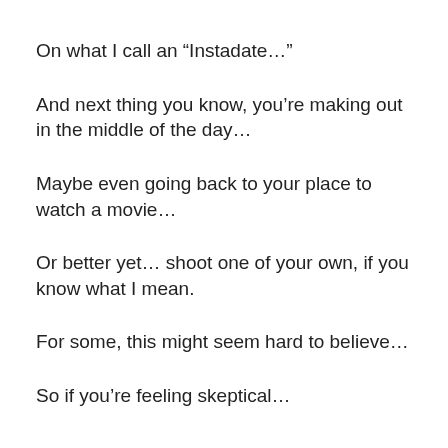On what I call an “Instadate…”
And next thing you know, you’re making out in the middle of the day…
Maybe even going back to your place to watch a movie…
Or better yet… shoot one of your own, if you know what I mean.
For some, this might seem hard to believe…
So if you’re feeling skeptical…